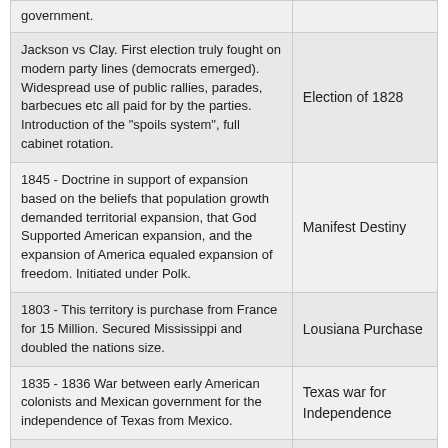| Description | Term |
| --- | --- |
| government. |  |
| Jackson vs Clay. First election truly fought on modern party lines (democrats emerged). Widespread use of public rallies, parades, barbecues etc all paid for by the parties. Introduction of the "spoils system", full cabinet rotation. | Election of 1828 |
| 1845 - Doctrine in support of expansion based on the beliefs that population growth demanded territorial expansion, that God Supported American expansion, and the expansion of America equaled expansion of freedom. Initiated under Polk. | Manifest Destiny |
| 1803 - This territory is purchase from France for 15 Million. Secured Mississippi and doubled the nations size. | Lousiana Purchase |
| 1835 - 1836 War between early American colonists and Mexican government for the independence of Texas from Mexico. | Texas war for Independence |
| (November 3, 1793 – December 27, 1836), known as the "Father of Texas", led the second and ultimately successful colonization of the region by settlers from the United States. Settled on huge land grant from Mexico in 1820's. | Steven Austin |